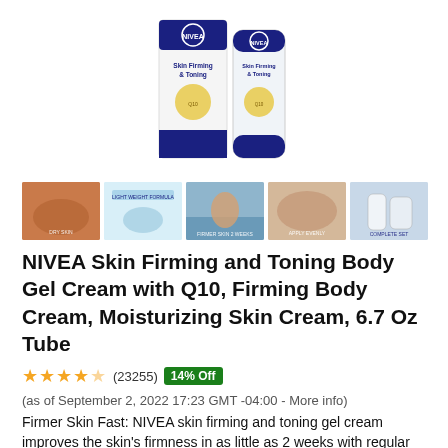[Figure (photo): NIVEA Skin Firming and Toning Body Gel Cream product shot — box and tube standing upright on white background]
[Figure (photo): Row of 5 thumbnail product/lifestyle images for NIVEA Skin Firming product]
NIVEA Skin Firming and Toning Body Gel Cream with Q10, Firming Body Cream, Moisturizing Skin Cream, 6.7 Oz Tube
★★★★☆ (23255) 14% Off (as of September 2, 2022 17:23 GMT -04:00 - More info) Firmer Skin Fast: NIVEA skin firming and toning gel cream improves the skin's firmness in as little as 2 weeks with regular use